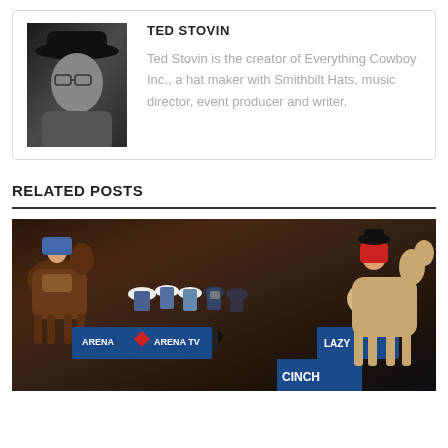TED STOVIN
Ted Stovin is the creator of Everything Cowboy Inc., a hat maker with Smithbilt Hats, music director, event producer and writer.
RELATED POSTS
[Figure (photo): Rodeo scene with cowboys on horses, group of people standing in front of arena banners including Arena TV, Lazy, and Cinch Jeans logos]